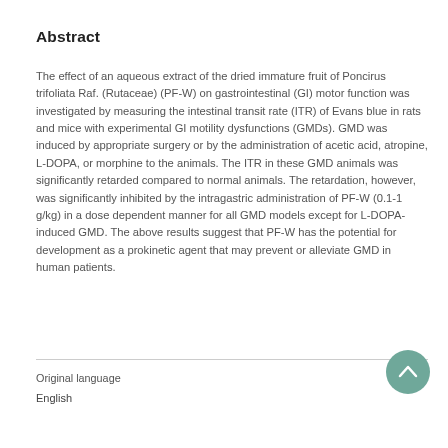Abstract
The effect of an aqueous extract of the dried immature fruit of Poncirus trifoliata Raf. (Rutaceae) (PF-W) on gastrointestinal (GI) motor function was investigated by measuring the intestinal transit rate (ITR) of Evans blue in rats and mice with experimental GI motility dysfunctions (GMDs). GMD was induced by appropriate surgery or by the administration of acetic acid, atropine, L-DOPA, or morphine to the animals. The ITR in these GMD animals was significantly retarded compared to normal animals. The retardation, however, was significantly inhibited by the intragastric administration of PF-W (0.1-1 g/kg) in a dose dependent manner for all GMD models except for L-DOPA-induced GMD. The above results suggest that PF-W has the potential for development as a prokinetic agent that may prevent or alleviate GMD in human patients.
Original language
English